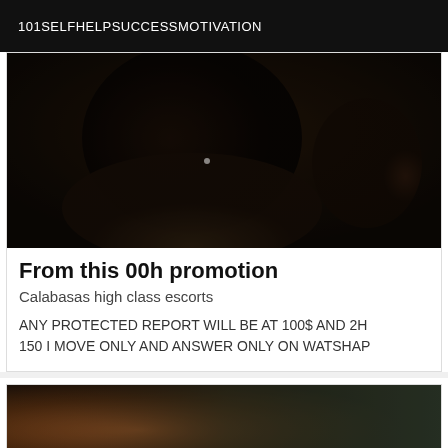101SELFHELPSUCCESSMOTIVATION
[Figure (photo): Dark photo of a person wearing a black top, torso visible, dark background]
From this 00h promotion
Calabasas high class escorts
ANY PROTECTED REPORT WILL BE AT 100$ AND 2H 150 I MOVE ONLY AND ANSWER ONLY ON WATSHAP
[Figure (photo): Partial dark photo, brownish/orange tones, cropped at bottom of page]